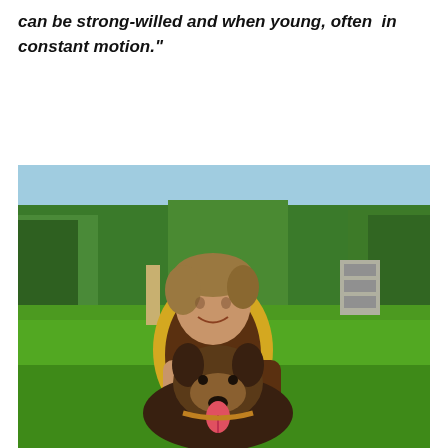can be strong-willed and when young, often in constant motion."
[Figure (photo): A smiling woman with short blonde-brown hair sitting on a grassy field, hugging a Belgian Malinois dog. Green trees and blue sky visible in the background.]